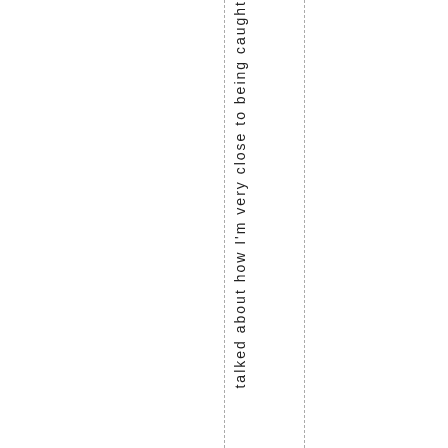talked about how I'm very close to being caught